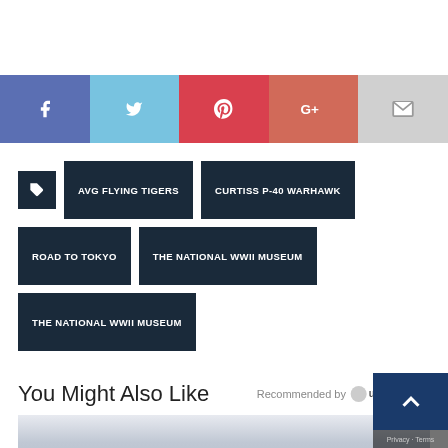[Figure (infographic): Social media share bar with Facebook, Twitter, Pinterest, Google+, and Email buttons]
AVG FLYING TIGERS
CURTISS P-40 WARHAWK
ROAD TO TOKYO
THE NATIONAL WWII MUSEUM
THE NATIONAL WWII MUSEUM
You Might Also Like
Recommended by Outbrain
[Figure (photo): Thumbnail image of person]